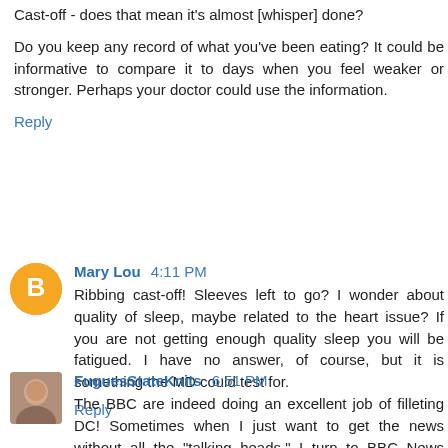Cast-off - does that mean it's almost [whisper] done?
Do you keep any record of what you've been eating? It could be informative to compare it to days when you feel weaker or stronger. Perhaps your doctor could use the information.
Reply
Mary Lou 4:11 PM
Ribbing cast-off! Sleeves left to go? I wonder about quality of sleep, maybe related to the heart issue? If you are not getting enough quality sleep you will be fatigued. I have no answer, of course, but it is something the MD could test for.
Reply
FuguesStateKnits 6:51 PM
The BBC are indeed doing an excellent job of filleting DC! Sometimes when I just want to get the news without all the "talking heads," I turn to BBC News America.